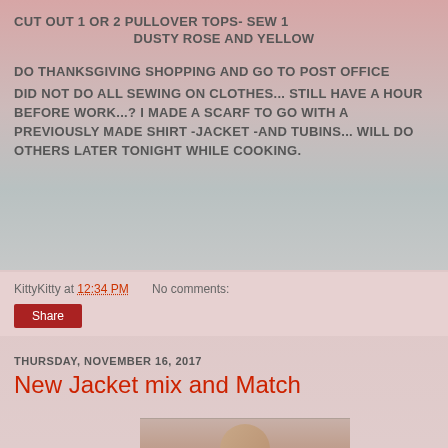CUT OUT 1 OR 2 PULLOVER TOPS- SEW 1
DUSTY ROSE AND YELLOW
DO THANKSGIVING SHOPPING AND GO TO POST OFFICE
DID NOT DO ALL SEWING ON CLOTHES... STILL HAVE A HOUR BEFORE WORK...?  I MADE A SCARF TO GO WITH A PREVIOUSLY MADE SHIRT -JACKET -AND TUBINS...  WILL DO OTHERS LATER TONIGHT WHILE COOKING.
KittyKitty at 12:34 PM    No comments:
Share
THURSDAY, NOVEMBER 16, 2017
New Jacket mix and Match
[Figure (photo): Partial photo of a person, cropped at bottom of page]